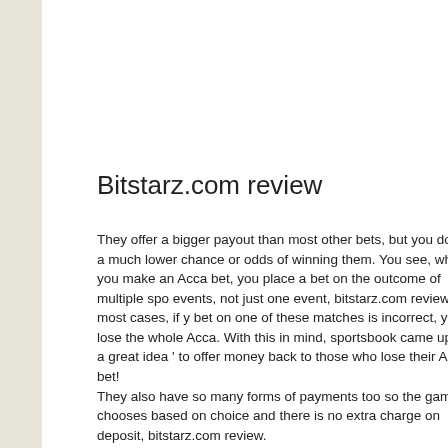Bitstarz.com review
They offer a bigger payout than most other bets, but you do have a much lower chance or odds of winning them. You see, when you make an Acca bet, you place a bet on the outcome of multiple sporting events, not just one event, bitstarz.com review. In most cases, if your bet on one of these matches is incorrect, you lose the whole Acca. With this in mind, sportsbook came up with a great idea ' to offer money back to those who lose their Acca bet!
They also have so many forms of payments too so the gambler chooses based on choice and there is no extra charge on deposit, bitstarz.com review.
Stake takes care of their customers. A strong sign of a legit bitcoin gambling site. Enter your username, password, and email address, and you're ready to gamble with crypto. All accounts are anonymous on Stake, bitstarz.com review.